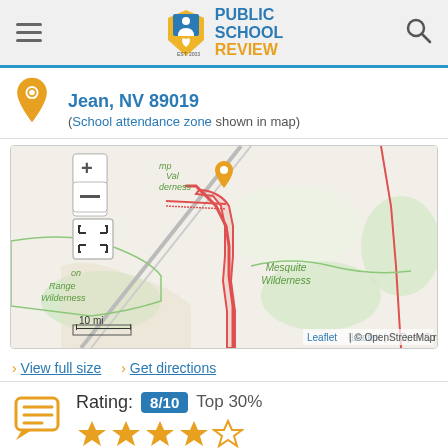Public School Review
Jean, NV 89019 (School attendance zone shown in map)
[Figure (map): Street map showing location near Jean, NV with school attendance zone outlined in red. Map shows Mesquite Wilderness area, Camp Wile Wilderness area, scale of 10 mi, zoom controls, and an orange pin marker at the school location.]
> View full size  > Get directions
Rating: 8/10 Top 30%